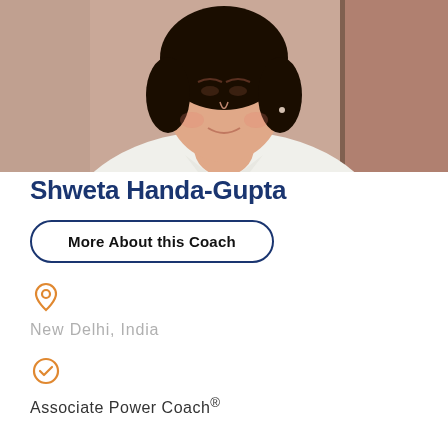[Figure (photo): Profile photo of Shweta Handa-Gupta, a woman with dark hair wearing a white shirt, photographed from shoulders up]
Shweta Handa-Gupta
More About this Coach
New Delhi, India
Associate Power Coach®